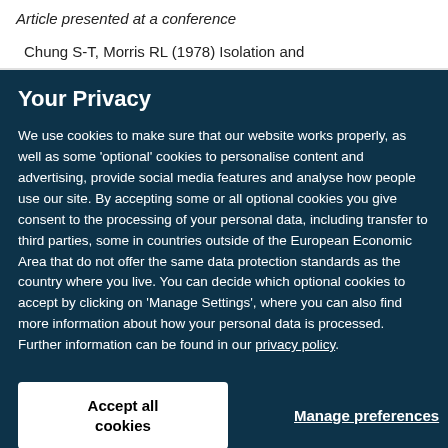Article presented at a conference
Chung S-T, Morris RL (1978) Isolation and
Your Privacy
We use cookies to make sure that our website works properly, as well as some ‘optional’ cookies to personalise content and advertising, provide social media features and analyse how people use our site. By accepting some or all optional cookies you give consent to the processing of your personal data, including transfer to third parties, some in countries outside of the European Economic Area that do not offer the same data protection standards as the country where you live. You can decide which optional cookies to accept by clicking on ‘Manage Settings’, where you can also find more information about how your personal data is processed. Further information can be found in our privacy policy.
Accept all cookies
Manage preferences